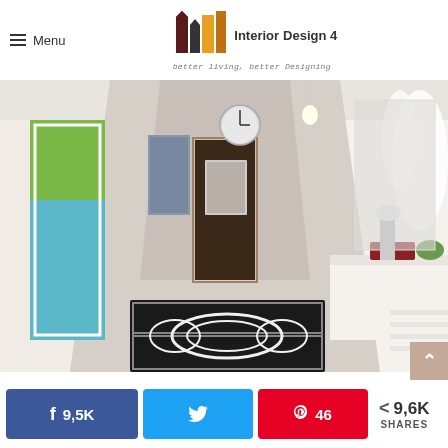Menu | Interior Design 4 — better living, better Designing
[Figure (photo): Interior hallway with hardwood floors, black and white patterned runner rug, white walls with colorful artwork, a clock, white console table with decorative items, and white feathery decor on the right side.]
9,5K | (twitter share button) | 46 | < 9,6K SHARES